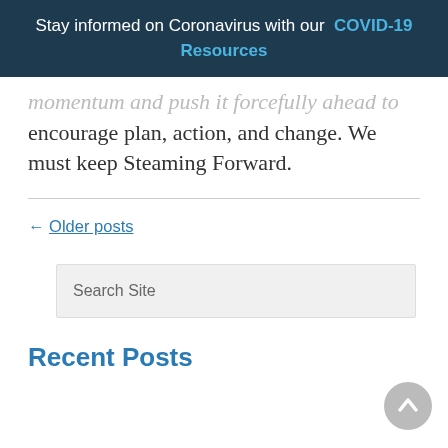Stay informed on Coronavirus with our COVID-19 Resources
momentum and push it forcefully ahead to encourage plan, action, and change. We must keep Steaming Forward.
← Older posts
Search Site
Recent Posts